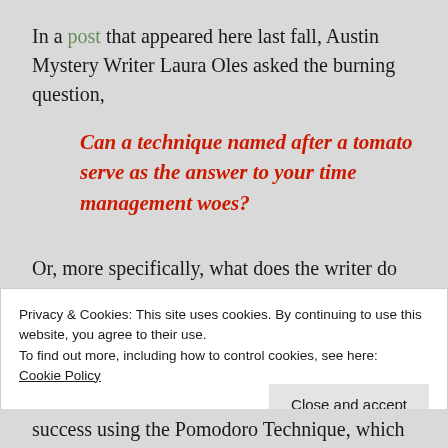In a post that appeared here last fall, Austin Mystery Writer Laura Oles asked the burning question,
Can a technique named after a tomato serve as the answer to your time management woes?
Or, more specifically, what does the writer do when it's impossible to devote a large block of
Privacy & Cookies: This site uses cookies. By continuing to use this website, you agree to their use.
To find out more, including how to control cookies, see here:
Cookie Policy
success using the Pomodoro Technique, which